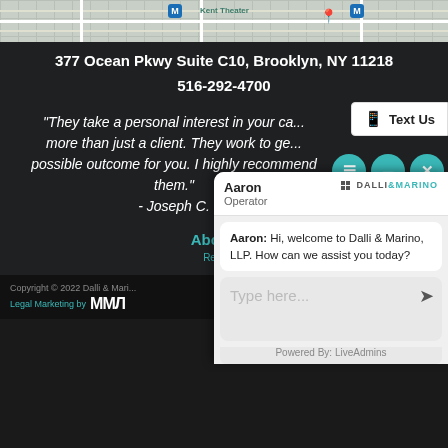[Figure (map): Google Maps partial view showing street map with metro icons and Kent Theater label]
377 Ocean Pkwy Suite C10, Brooklyn, NY 11218
516-292-4700
"They take a personal interest in your ca... more than just a client. They work to ge... possible outcome for you. I highly recommend them." - Joseph C.
About Us
Text Us
[Figure (screenshot): Live chat widget showing Aaron (Operator) from Dalli & Marino with greeting message and text input box]
Copyright © 2022 Dalli & Marino | Legal Marketing by MMA
Powered By: LiveAdmins